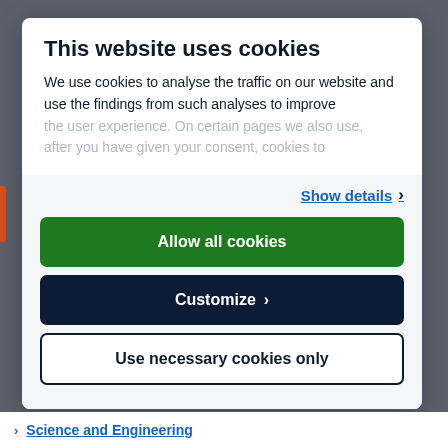This website uses cookies
We use cookies to analyse the traffic on our website and use the findings from such analyses to improve the user experience. On certain pages we also use, after you have given your consent, cookies to
Show details >
Allow all cookies
Customize >
Use necessary cookies only
Science and Engineering